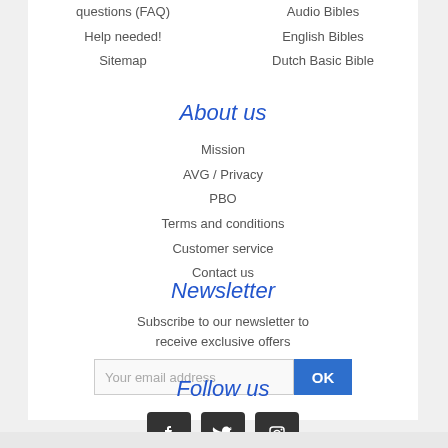questions (FAQ)
Help needed!
Sitemap
Audio Bibles
English Bibles
Dutch Basic Bible
About us
Mission
AVG / Privacy
PBO
Terms and conditions
Customer service
Contact us
Newsletter
Subscribe to our newsletter to receive exclusive offers
[Figure (other): Email subscription form with text input placeholder 'Your email address' and blue OK button]
Follow us
[Figure (other): Social media icons: Facebook, Twitter, Instagram in dark square rounded buttons]